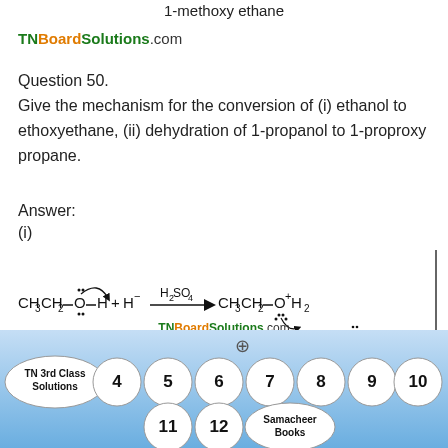1-methoxy ethane
TNBoardSolutions.com
Question 50.
Give the mechanism for the conversion of (i) ethanol to ethoxyethane, (ii) dehydration of 1-propanol to 1-proproxy propane.
Answer:
(i)
[Figure (engineering-diagram): Chemical reaction diagram showing CH3CH2-O(with lone pairs)-H + H- with arrow and H2SO4 above arrow, yielding CH3CH2-O+(with lone pairs) H2, with partial structure H-O(dots)-CH visible at bottom right]
TNBoardSolutions.com
[Figure (infographic): Navigation bar with circles labeled: TN 3rd Class Solutions, 4, 5, 6, 7, 8, 9, 10, 11, 12, Samacheer Books]